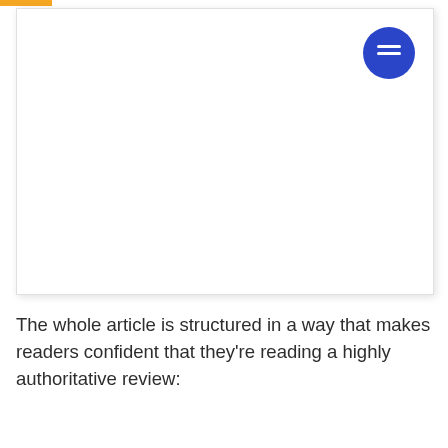[Figure (screenshot): Screenshot of a webpage with an orange accent bar at the top left and a blue circular hamburger/menu button icon at the top right. The main content area is white and largely blank.]
The whole article is structured in a way that makes readers confident that they're reading a highly authoritative review: